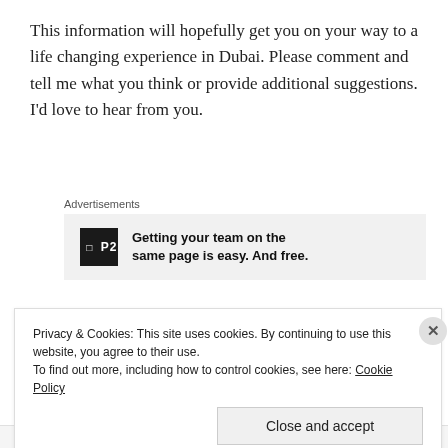This information will hopefully get you on your way to a life changing experience in Dubai. Please comment and tell me what you think or provide additional suggestions. I'd love to hear from you.
[Figure (infographic): Advertisement banner for P2 with logo and tagline: Getting your team on the same page is easy. And free.]
Love,
Privacy & Cookies: This site uses cookies. By continuing to use this website, you agree to their use. To find out more, including how to control cookies, see here: Cookie Policy
Close and accept